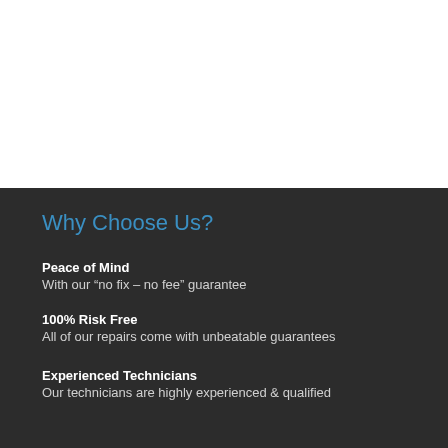Why Choose Us?
Peace of Mind
With our “no fix – no fee” guarantee
100% Risk Free
All of our repairs come with unbeatable guarantees
Experienced Technicians
Our technicians are highly experienced & qualified